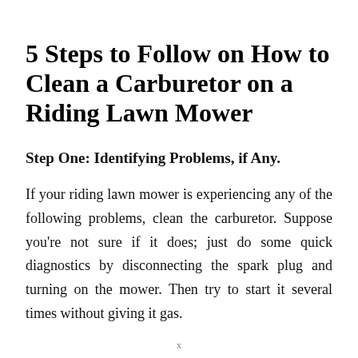5 Steps to Follow on How to Clean a Carburetor on a Riding Lawn Mower
Step One: Identifying Problems, if Any.
If your riding lawn mower is experiencing any of the following problems, clean the carburetor. Suppose you're not sure if it does; just do some quick diagnostics by disconnecting the spark plug and turning on the mower. Then try to start it several times without giving it gas.